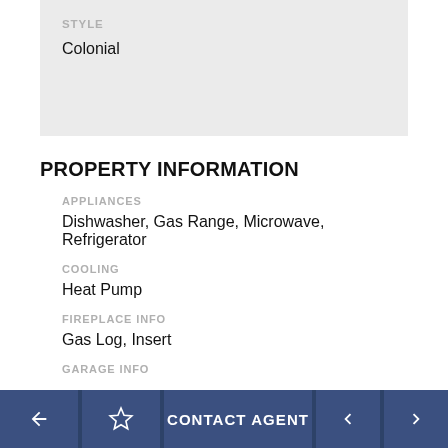STYLE
Colonial
PROPERTY INFORMATION
APPLIANCES
Dishwasher, Gas Range, Microwave, Refrigerator
COOLING
Heat Pump
FIREPLACE INFO
Gas Log, Insert
GARAGE INFO
CONTACT AGENT